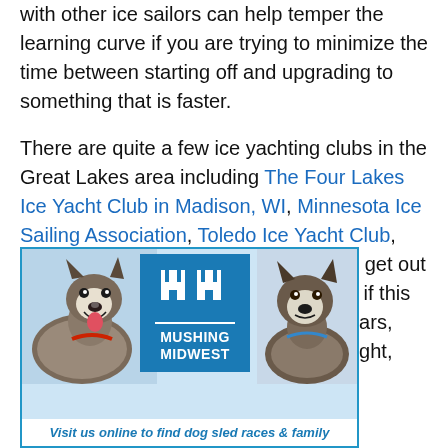with other ice sailors can help temper the learning curve if you are trying to minimize the time between starting off and upgrading to something that is faster.
There are quite a few ice yachting clubs in the Great Lakes area including The Four Lakes Ice Yacht Club in Madison, WI, Minnesota Ice Sailing Association, Toledo Ice Yacht Club, and West Michigan Ice Yacht Club. So get out there and try something new, because if this sport has been around for over 200 years, they have got to be doing something right, right?
[Figure (infographic): Advertisement for Mushing Midwest showing two sled dogs (huskies) flanking a blue logo badge with stylized 'MM' letters and text 'MUSHING MIDWEST'. Caption reads: 'Visit us online to find dog sled races & family']
Visit us online to find dog sled races & family